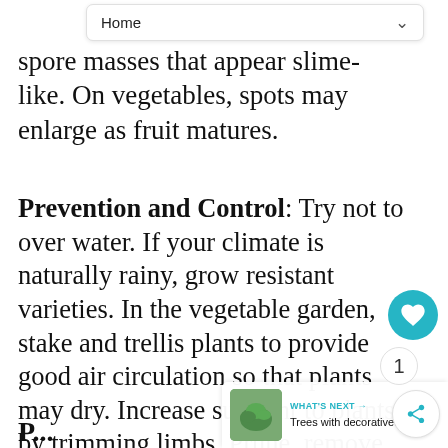Home
spore masses that appear slime-like. On vegetables, spots may enlarge as fruit matures.
Prevention and Control: Try not to over water. If your climate is naturally rainy, grow resistant varieties. In the vegetable garden, stake and trellis plants to provide good air circulation so that plants may dry. Increase sunlight to plants by trimming limbs. Prune, remove, or destroy infected plants and remove all leaf debris. Select a fungicide that is labeled for anthracnose and the plant you are treating. Follow the label strict...
P...